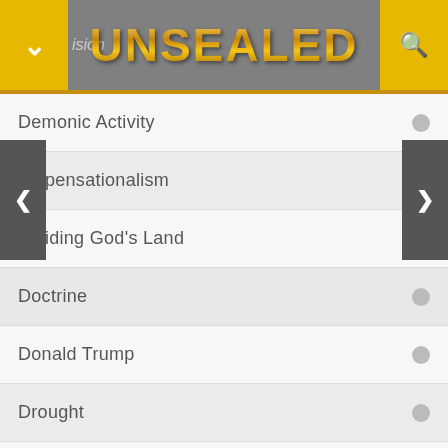UNSEALED
Demonic Activity
Dispensationalism
Dividing God's Land
Doctrine
Donald Trump
Drought
Early Church
Earthquakes
Economic Collapse
Economy